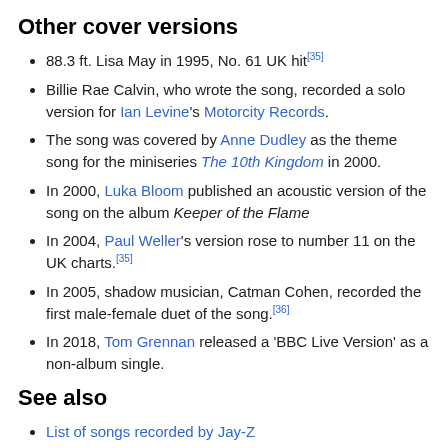Other cover versions
88.3 ft. Lisa May in 1995, No. 61 UK hit[35]
Billie Rae Calvin, who wrote the song, recorded a solo version for Ian Levine's Motorcity Records.
The song was covered by Anne Dudley as the theme song for the miniseries The 10th Kingdom in 2000.
In 2000, Luka Bloom published an acoustic version of the song on the album Keeper of the Flame
In 2004, Paul Weller's version rose to number 11 on the UK charts.[35]
In 2005, shadow musician, Catman Cohen, recorded the first male-female duet of the song.[36]
In 2018, Tom Grennan released a 'BBC Live Version' as a non-album single.
See also
List of songs recorded by Jay-Z